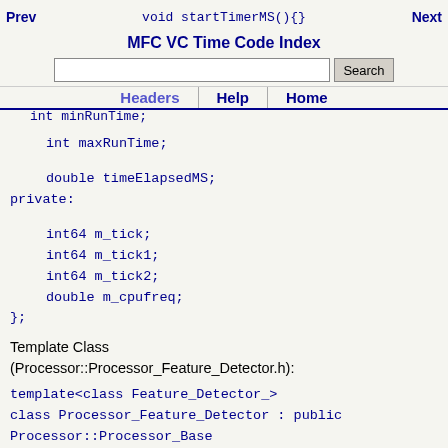Prev  void startTimerMS(){}  Next
MFC VC Time Code Index
[Search box] Search
Headers  Help  Home
int minRunTime;
int maxRunTime;

    double timeElapsedMS;
private:

    int64 m_tick;
    int64 m_tick1;
    int64 m_tick2;
    double m_cpufreq;
};

Template Class (Processor::Processor_Feature_Detector.h):

template<class Feature_Detector_>
class Processor_Feature_Detector : public Processor::Processor_Base
{
public:
    bool